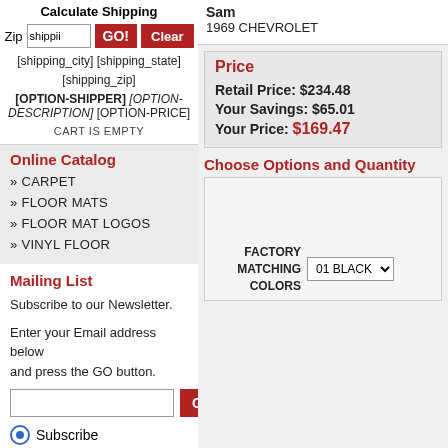Calculate Shipping
Zip [shippi] GO! Clear
[shipping_city] [shipping_state]
[shipping_zip]
[OPTION-SHIPPER] [OPTION-DESCRIPTION] [OPTION-PRICE]
CART IS EMPTY
Online Catalog
» CARPET
» FLOOR MATS
» FLOOR MAT LOGOS
» VINYL FLOOR
Mailing List
Subscribe to our Newsletter.
Enter your Email address below and press the GO button.
GO
Subscribe
Unsubscribe
Sam
1969 CHEVROLET
Price
Retail Price: $234.48
Your Savings: $65.01
Your Price: $169.47
Choose Options and Quantity
FACTORY MATCHING COLORS  01 BLACK